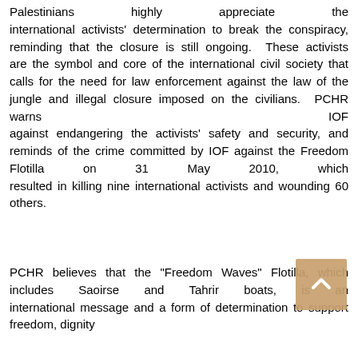Palestinians highly appreciate the international activists' determination to break the conspiracy, reminding that the closure is still ongoing. These activists are the symbol and core of the international civil society that calls for the need for law enforcement against the law of the jungle and illegal closure imposed on the civilians. PCHR warns IOF against endangering the activists' safety and security, and reminds of the crime committed by IOF against the Freedom Flotilla on 31 May 2010, which resulted in killing nine international activists and wounding 60 others.
PCHR believes that the "Freedom Waves" Flotilla, which includes Saoirse and Tahrir boats, is an international message and a form of determination to support freedom, dignity